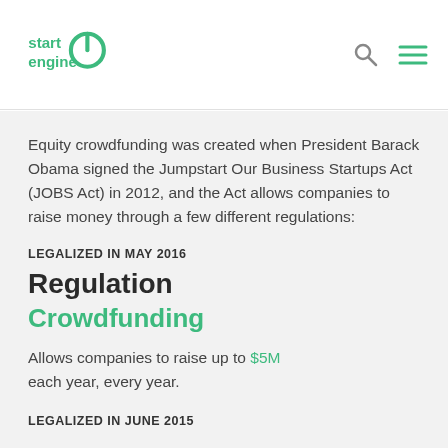[Figure (logo): StartEngine logo in green with power button icon]
Equity crowdfunding was created when President Barack Obama signed the Jumpstart Our Business Startups Act (JOBS Act) in 2012, and the Act allows companies to raise money through a few different regulations:
LEGALIZED IN MAY 2016
Regulation Crowdfunding
Allows companies to raise up to $5M each year, every year.
LEGALIZED IN JUNE 2015